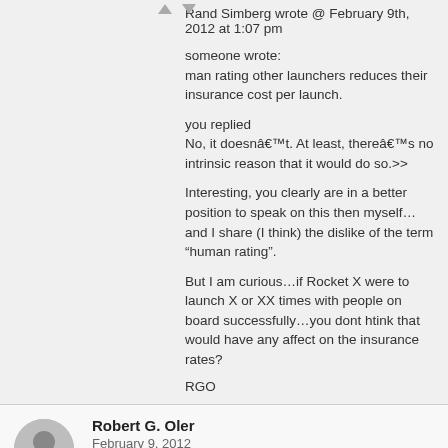Rand Simberg wrote @ February 9th, 2012 at 1:07 pm
someone wrote:
man rating other launchers reduces their insurance cost per launch.
you replied
No, it doesnâ€™t. At least, thereâ€™s no intrinsic reason that it would do so.>>
Interesting, you clearly are in a better position to speak on this then myself…and I share (I think) the dislike of the term “human rating”.
But I am curious…if Rocket X were to launch X or XX times with people on board successfully…you dont htink that would have any affect on the insurance rates?
RGO
Robert G. Oler
February 9, 2012
E.P. Grondine wrote @ February 9th, 2012 at 12:25 pm
"I believe that I guessed correctly as to Evangelical Christian response to the Mormon faith, as those living